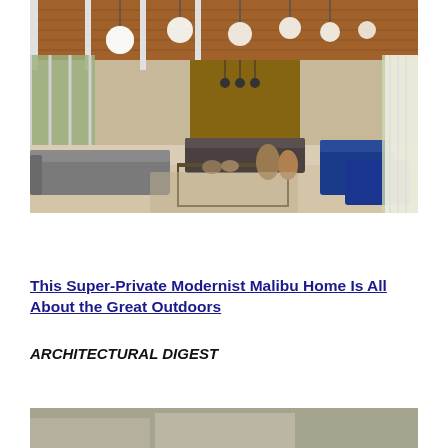[Figure (photo): Interior of a modernist home with wood ceiling, globe pendant lights, gray sectional sofa, low coffee table, and blue accent chairs. Large floor-to-ceiling windows on both sides let in natural light.]
This Super-Private Modernist Malibu Home Is All About the Great Outdoors
ARCHITECTURAL DIGEST
[Figure (photo): Partial view of another interior photo at the bottom of the page.]